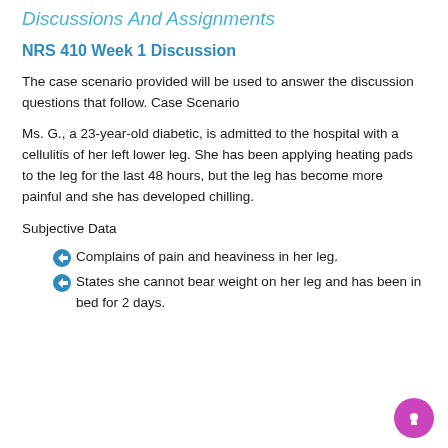Discussions And Assignments
NRS 410 Week 1 Discussion
The case scenario provided will be used to answer the discussion questions that follow. Case Scenario
Ms. G., a 23-year-old diabetic, is admitted to the hospital with a cellulitis of her left lower leg. She has been applying heating pads to the leg for the last 48 hours, but the leg has become more painful and she has developed chilling.
Subjective Data
Complains of pain and heaviness in her leg.
States she cannot bear weight on her leg and has been in bed for 2 days.